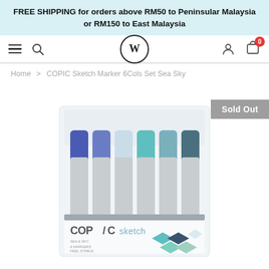FREE SHIPPING for orders above RM50 to Peninsular Malaysia or RM150 to East Malaysia
[Figure (screenshot): Website navigation bar with hamburger menu, search icon, W logo in circle, user icon, and cart icon with badge showing 0]
Home > COPIC Sketch Marker 6Cols Set Sea Sky
Sold Out
[Figure (photo): COPIC Sketch Marker 6 Colors Set Sea Sky product package showing 6 markers with colored caps (blue, light blue, teal, grey-blue shades) and the COPIC sketch logo with diamond color swatches at the bottom]